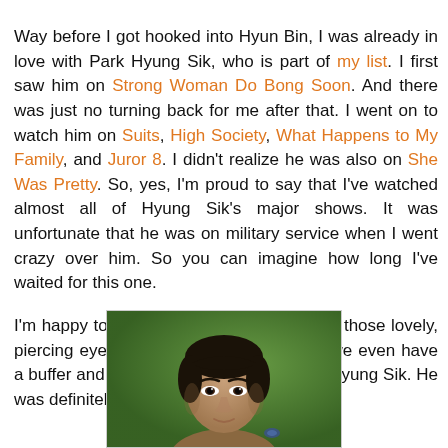Way before I got hooked into Hyun Bin, I was already in love with Park Hyung Sik, who is part of my list. I first saw him on Strong Woman Do Bong Soon. And there was just no turning back for me after that. I went on to watch him on Suits, High Society, What Happens to My Family, and Juror 8. I didn't realize he was also on She Was Pretty. So, yes, I'm proud to say that I've watched almost all of Hyung Sik's major shows. It was unfortunate that he was on military service when I went crazy over him. So you can imagine how long I've waited for this one.
I'm happy to report that Hyung Sik still has those lovely, piercing eyes. And thanks to the military, we even have a buffer and more mature version of Park Hyung Sik. He was definitely worth the wait. :)
[Figure (photo): Photo of a young Asian man with dark hair looking slightly to the side, against a green background, holding something small.]